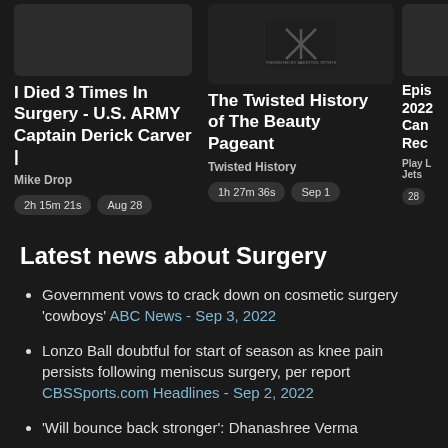[Figure (screenshot): Podcast/episode card: I Died 3 Times In Surgery - U.S. ARMY Captain Derick Carver | Mike Drop. Duration: 2h 15m 21s, Date: Aug 28]
[Figure (screenshot): Podcast/episode card: The Twisted History of The Beauty Pageant - Twisted History. Duration: 1h 27m 36s, Date: Sep 1. Thumbnail shows diagonal lines logo with 'presented by barstool sports' text.]
[Figure (screenshot): Partially visible episode card: Epis... 2022... Can... Rec... Play L... Jets. Duration: 28...]
Latest news about Surgery
Government vows to crack down on cosmetic surgery 'cowboys' ABC News - Sep 3, 2022
Lonzo Ball doubtful for start of season as knee pain persists following meniscus surgery, per report CBSSports.com Headlines - Sep 2, 2022
'Will bounce back stronger': Dhanashree Verma